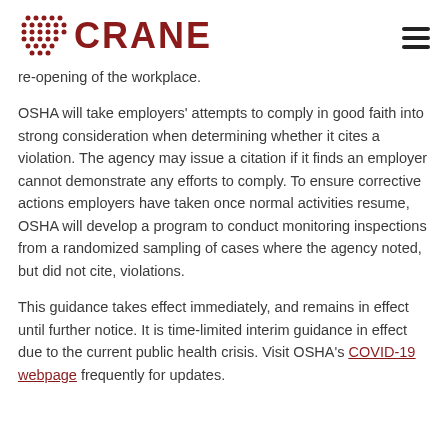CRANE
re-opening of the workplace.
OSHA will take employers' attempts to comply in good faith into strong consideration when determining whether it cites a violation. The agency may issue a citation if it finds an employer cannot demonstrate any efforts to comply. To ensure corrective actions employers have taken once normal activities resume, OSHA will develop a program to conduct monitoring inspections from a randomized sampling of cases where the agency noted, but did not cite, violations.
This guidance takes effect immediately, and remains in effect until further notice. It is time-limited interim guidance in effect due to the current public health crisis. Visit OSHA's COVID-19 webpage frequently for updates.